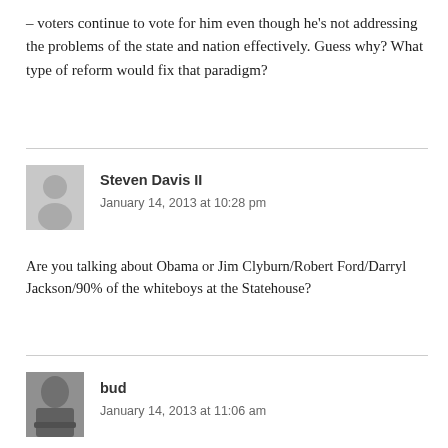– voters continue to vote for him even though he's not addressing the problems of the state and nation effectively. Guess why? What type of reform would fix that paradigm?
Steven Davis II
January 14, 2013 at 10:28 pm
Are you talking about Obama or Jim Clyburn/Robert Ford/Darryl Jackson/90% of the whiteboys at the Statehouse?
bud
January 14, 2013 at 11:06 am